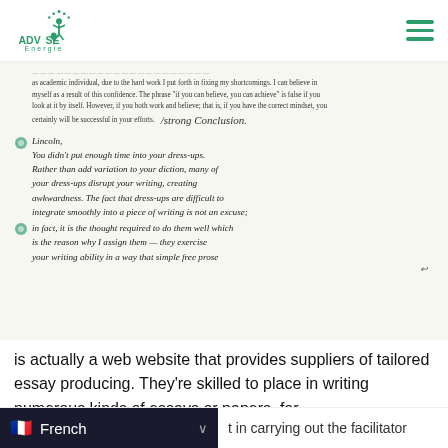ADVISE Energie — navigation header with logo and hamburger menu
[Figure (photo): Handwritten teacher feedback note on student essay. Shows typed text at top: 'as academic individual, due to the hard work I put forth in fixing my shortcomings. I can believe in myself as a result of this confidence. The phrase "if you can believe, you can achieve" is false if you look at it by itself. However, if you both work and believe; that is, if you have the correct mindset, you certainly will be successful in your efforts.' With cursive annotation: '/Strong Conclusion.' Then a new section beginning with 'Lincoln,' followed by cursive text: 'You didn\'t put enough time into your dress-ups. Rather than add variation to your diction, many of your dress-ups disrupt your writing, creating awkwardness. The fact that dress-ups are difficult to integrate smoothly into a piece of writing is not an excuse; in fact, it is the thought required to do them well which is the reason why I assign them — they exercise your writing ability in a way that simple free prose']
is actually a web website that provides suppliers of tailored essay producing. They're skilled to place in writing numerous kinds of essays or papers, for
t in carrying out the facilitator
usiness enterprise